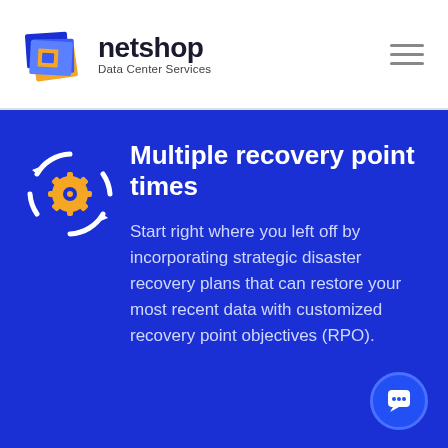[Figure (logo): Netshop Data Center Services logo — stacked blue/orange layered squares icon with text 'netshop' in dark blue and subtitle 'Data Center Services']
[Figure (illustration): White circular arrows icon with orange gear in center, representing recovery/refresh cycle, on blue background]
Multiple recovery point times
Start right where you left off by incorporating strategic disaster recovery plans that can restore your most recent data with customized recovery point objectives (RPO).